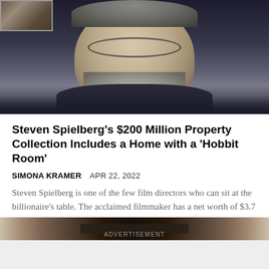[Figure (photo): Close-up photo of Steven Spielberg, an older man with gray beard, glasses, smiling, wearing dark suit, against blurred dark background. A small thumbnail image is visible in the top-left corner.]
Steven Spielberg's $200 Million Property Collection Includes a Home with a 'Hobbit Room'
SIMONA KRAMER  APR 22, 2022
Steven Spielberg is one of the few film directors who can sit at the billionaire's table. The acclaimed filmmaker has a net worth of $3.7 billion. And…
ADVERTISEMENT